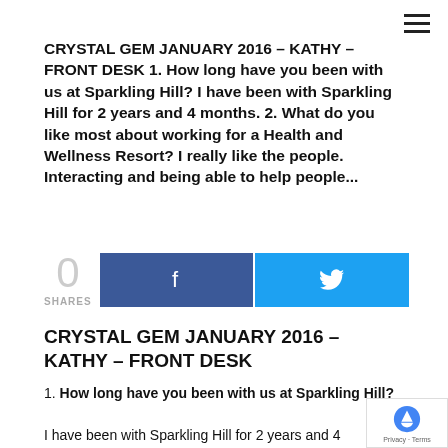CRYSTAL GEM JANUARY 2016 – KATHY – FRONT DESK 1. How long have you been with us at Sparkling Hill? I have been with Sparkling Hill for 2 years and 4 months. 2. What do you like most about working for a Health and Wellness Resort? I really like the people. Interacting and being able to help people...
[Figure (other): Social sharing section: 0 SHARES, Facebook share button (blue), Twitter share button (light blue)]
CRYSTAL GEM JANUARY 2016 – KATHY – FRONT DESK
1. How long have you been with us at Sparkling Hill?
I have been with Sparkling Hill for 2 years and 4